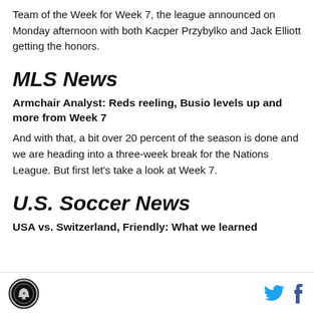Team of the Week for Week 7, the league announced on Monday afternoon with both Kacper Przybylko and Jack Elliott getting the honors.
MLS News
Armchair Analyst: Reds reeling, Busio levels up and more from Week 7
And with that, a bit over 20 percent of the season is done and we are heading into a three-week break for the Nations League. But first let's take a look at Week 7.
U.S. Soccer News
USA vs. Switzerland, Friendly: What we learned
Logo | Twitter | Facebook